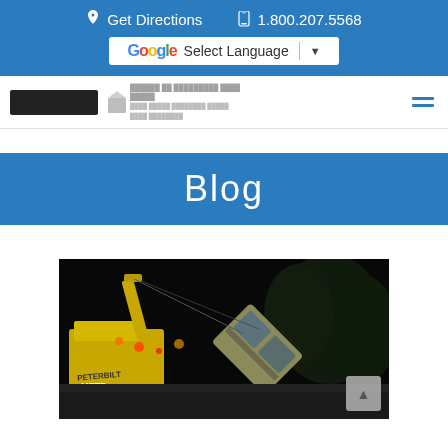Get Directions   1.800.207.5568
Select Language
[Figure (screenshot): Navigation bar with black button logo and hamburger menu icon]
Blog
[Figure (photo): Night scene of a truck accident with a yellow crane (Peterbilt/Metro), overturned truck cab, emergency lights, and trees in background]